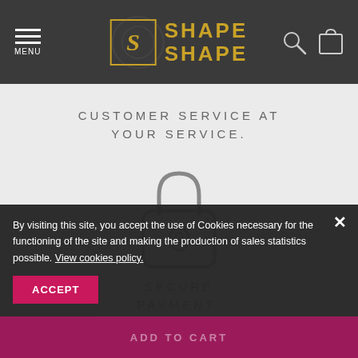[Figure (logo): Shape Shape logo with golden S lettermark in bordered box and bold uppercase SHAPE SHAPE text in gold, on dark gray header bar with hamburger menu icon, search icon, and shopping bag icon]
CUSTOMER SERVICE AT YOUR SERVICE.
[Figure (illustration): Minimalist padlock icon in gray outline style, circle shackle on top of rounded rectangle body with keyhole oval]
SECURE PAYMENT.
[Figure (illustration): Partial dark box/package icon visible at bottom of page]
By visiting this site, you accept the use of Cookies necessary for the functioning of the site and making the production of sales statistics possible. View cookies policy.